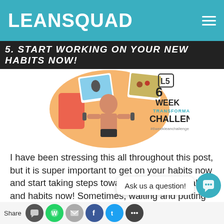LEANSQUAD
5. START WORKING ON YOUR NEW HABITS NOW!
[Figure (illustration): 6 Week Transformation Challenge promotional image featuring a fit male holding dumbbells with photos and text '#6weekleanchallenge']
I have been stressing this all throughout this post, but it is super important to get on your habits now and start taking steps towards these new goals and habits now! Sometimes, waiting and putting so many expectations on the new years can cause you to become overwhelmed or get super down on yourself if your goals and habits don't work out the way you want them to. By starting now,
giving yourself a head start on these new habits for the new year, you can be part of your self-care and o
Share